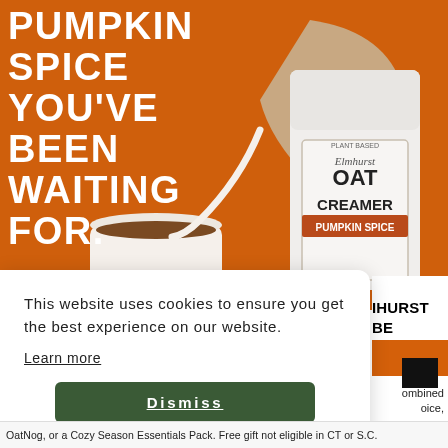[Figure (photo): Orange background product advertisement showing a hand pouring Elmhurst Oat Creamer (Pumpkin Spice flavor) into a coffee mug. Bold white text overlay reads 'PUMPKIN SPICE YOU'VE BEEN WAITING FOR.']
PUMPKIN SPICE YOU'VE BEEN WAITING FOR.
This website uses cookies to ensure you get the best experience on our website.
Learn more
Dismiss
IHURST BE SEASONAL
OatNog, or a Cozy Season Essentials Pack. Free gift not eligible in CT or S.C.
ombined oice,